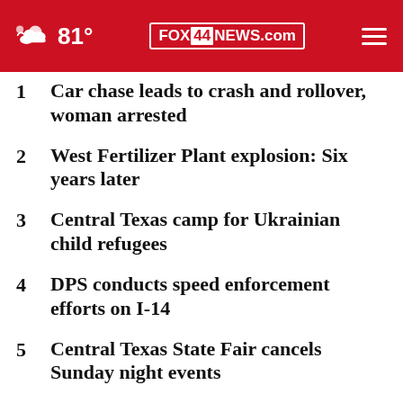81° FOX 44 NEWS.com
1  Car chase leads to crash and rollover, woman arrested
2  West Fertilizer Plant explosion: Six years later
3  Central Texas camp for Ukrainian child refugees
4  DPS conducts speed enforcement efforts on I-14
5  Central Texas State Fair cancels Sunday night events